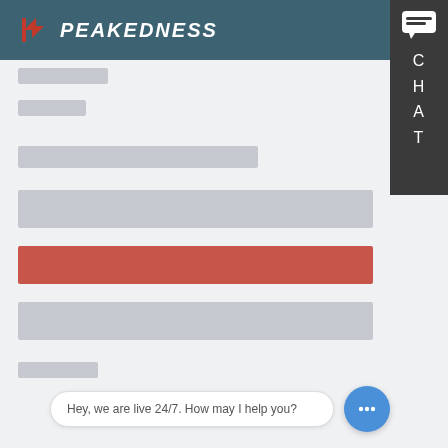PEAKEDNESS
[Figure (screenshot): Website screenshot of Peakedness with blurred/redacted content lines and a live chat widget showing 'Hey, we are live 24/7. How may I help you?']
Hey, we are live 24/7. How may I help you?